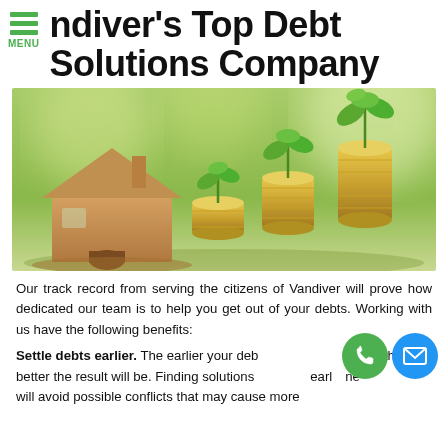Vandiver's Top Debt Solutions Company
[Figure (photo): Photo of stacked gold coins with green plant sprouts growing on top, and a wooden house model, on a blurred green background]
Our track record from serving the citizens of Vandiver will prove how dedicated our team is to help you get out of your debts. Working with us have the following benefits:
Settle debts earlier. The earlier your debts are settled, the better the result will be. Finding solutions earlier on time will avoid possible conflicts that may cause more
[Figure (illustration): Green phone icon circle and blue email/envelope icon circle]
[Figure (illustration): Blue email envelope icon circle]